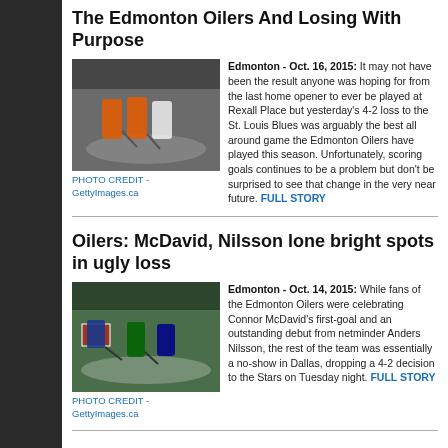The Edmonton Oilers And Losing With Purpose
[Figure (photo): Hockey players on ice, Edmonton Oilers vs St. Louis Blues]
PHOTO CREDIT - GettyImages.ca
Edmonton - Oct. 16, 2015: It may not have been the result anyone was hoping for from the last home opener to ever be played at Rexall Place but yesterday's 4-2 loss to the St. Louis Blues was arguably the best all around game the Edmonton Oilers have played this season. Unfortunately, scoring goals continues to be a problem but don't be surprised to see that change in the very near future. FULL STORY
Oilers: McDavid, Nilsson lone bright spots in ugly loss
[Figure (photo): Hockey players on ice, Edmonton Oilers game in Dallas]
PHOTO CREDIT - GettyImages.ca
Edmonton - Oct. 14, 2015: While fans of the Edmonton Oilers were celebrating Connor McDavid's first-goal and an outstanding debut from netminder Anders Nilsson, the rest of the team was essentially a no-show in Dallas, dropping a 4-2 decision to the Stars on Tuesday night. FULL STORY
Oilers: Solid Effort But Offensive Road Woes Continue